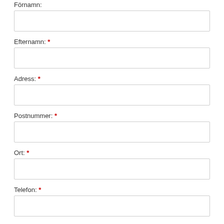Förnamn:
Efternamn: *
Adress: *
Postnummer: *
Ort: *
Telefon: *
E-mail: *